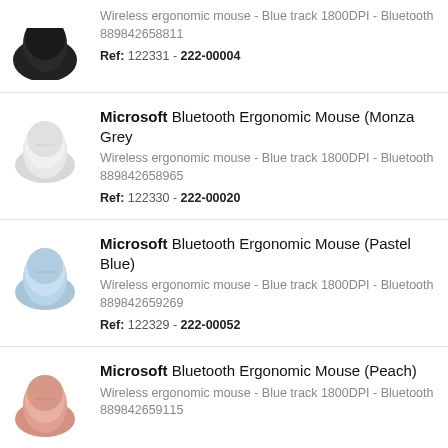Wireless ergonomic mouse - Blue track 1800DPI - Bluetooth 889842658811 Ref: 122331 - 222-00004
Microsoft Bluetooth Ergonomic Mouse (Monza Grey) Wireless ergonomic mouse - Blue track 1800DPI - Bluetooth 889842658965 Ref: 122330 - 222-00020
Microsoft Bluetooth Ergonomic Mouse (Pastel Blue) Wireless ergonomic mouse - Blue track 1800DPI - Bluetooth 889842659269 Ref: 122329 - 222-00052
Microsoft Bluetooth Ergonomic Mouse (Peach) Wireless ergonomic mouse - Blue track 1800DPI - Bluetooth 889842659115